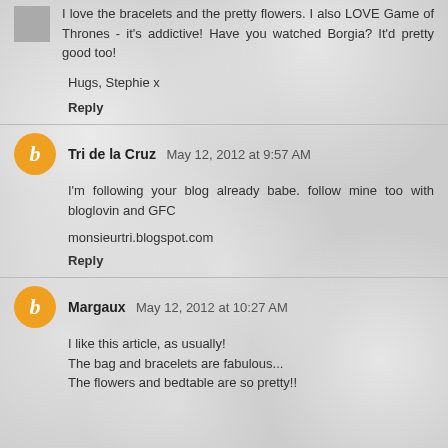I love the bracelets and the pretty flowers. I also LOVE Game of Thrones - it's addictive! Have you watched Borgia? It'd pretty good too!
Hugs, Stephie x
Reply
Tri de la Cruz  May 12, 2012 at 9:57 AM
I'm following your blog already babe. follow mine too with bloglovin and GFC
monsieurtri.blogspot.com
Reply
Margaux  May 12, 2012 at 10:27 AM
I like this article, as usually!
The bag and bracelets are fabulous...
The flowers and bedtable are so pretty!!